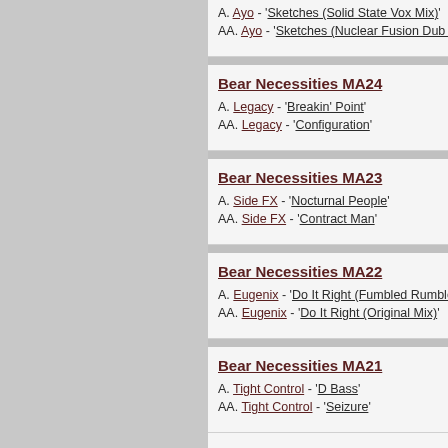A. Ayo - 'Sketches (Solid State Vox Mix)'
AA. Ayo - 'Sketches (Nuclear Fusion Dub Mix)'
Bear Necessities MA24
A. Legacy - 'Breakin' Point'
AA. Legacy - 'Configuration'
Bear Necessities MA23
A. Side FX - 'Nocturnal People'
AA. Side FX - 'Contract Man'
Bear Necessities MA22
A. Eugenix - 'Do It Right (Fumbled Rumble Mix)'
AA. Eugenix - 'Do It Right (Original Mix)'
Bear Necessities MA21
A. Tight Control - 'D Bass'
AA. Tight Control - 'Seizure'